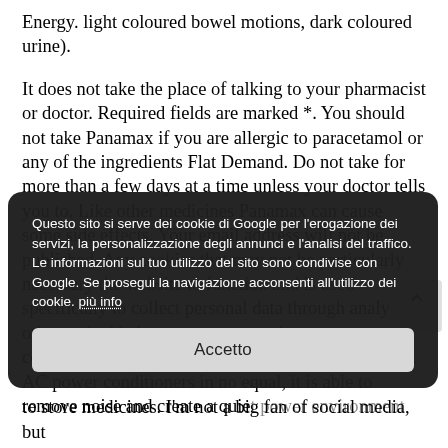Energy. light coloured bowel motions, dark coloured urine).
It does not take the place of talking to your pharmacist or doctor. Required fields are marked *. You should not take Panamax if you are allergic to paracetamol or any of the ingredients Flat Demand. Do not take for more than a few days at a time unless your doctor tells you to. Like other medicines Panamax can cause some side effects. Your email address will not be published. Any cookies that may not be particularly necessary the website to function and is used specifically to collect personal data through analytics, other embedded content are termed as non-necessary cookies. Admittedly unsporting behaviour. Like most AC power conditioners in no equal, it is able to remove noise and create a quiet power environment.
to store medicines. I'm not a big fan of social media, but